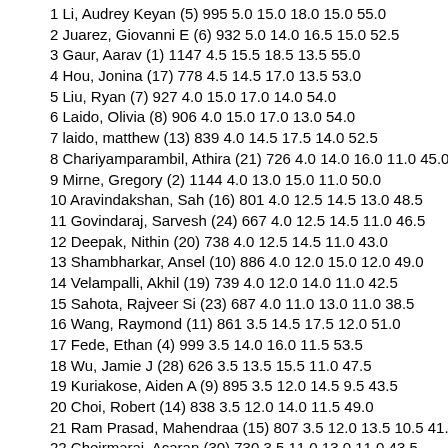1 Li, Audrey Keyan (5) 995 5.0 15.0 18.0 15.0 55.0
2 Juarez, Giovanni E (6) 932 5.0 14.0 16.5 15.0 52.5
3 Gaur, Aarav (1) 1147 4.5 15.5 18.5 13.5 55.0
4 Hou, Jonina (17) 778 4.5 14.5 17.0 13.5 53.0
5 Liu, Ryan (7) 927 4.0 15.0 17.0 14.0 54.0
6 Laido, Olivia (8) 906 4.0 15.0 17.0 13.0 54.0
7 laido, matthew (13) 839 4.0 14.5 17.5 14.0 52.5
8 Chariyamparambil, Athira (21) 726 4.0 14.0 16.0 11.0 45.0
9 Mirne, Gregory (2) 1144 4.0 13.0 15.0 11.0 50.0
10 Aravindakshan, Sah (16) 801 4.0 12.5 14.5 13.0 48.5
11 Govindaraj, Sarvesh (24) 667 4.0 12.5 14.5 11.0 46.5
12 Deepak, Nithin (20) 738 4.0 12.5 14.5 11.0 43.0
13 Shambharkar, Ansel (10) 886 4.0 12.0 15.0 12.0 49.0
14 Velampalli, Akhil (19) 739 4.0 12.0 14.0 11.0 42.5
15 Sahota, Rajveer Si (23) 687 4.0 11.0 13.0 11.0 38.5
16 Wang, Raymond (11) 861 3.5 14.5 17.5 12.0 51.0
17 Fede, Ethan (4) 999 3.5 14.0 16.0 11.5 53.5
18 Wu, Jamie J (28) 626 3.5 13.5 15.5 11.0 47.5
19 Kuriakose, Aiden A (9) 895 3.5 12.0 14.5 9.5 43.5
20 Choi, Robert (14) 838 3.5 12.0 14.0 11.5 49.0
21 Ram Prasad, Mahendraa (15) 807 3.5 12.0 13.5 10.5 41.0
22 Cheirmaraj, Acaran (30) 730 3.5 11.0 13.0 11.0 43.5